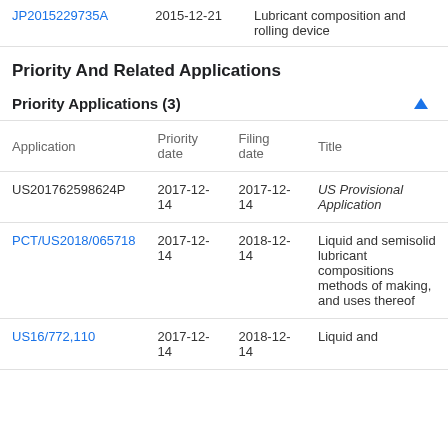| Application | Date | Title |
| --- | --- | --- |
| JP2015229735A | 2015-12-21 | Lubricant composition and rolling device |
Priority And Related Applications
Priority Applications (3)
| Application | Priority date | Filing date | Title |
| --- | --- | --- | --- |
| US201762598624P | 2017-12-14 | 2017-12-14 | US Provisional Application |
| PCT/US2018/065718 | 2017-12-14 | 2018-12-14 | Liquid and semisolid lubricant compositions methods of making, and uses thereof |
| US16/772,110 | 2017-12-14 | 2018-12-14 | Liquid and |